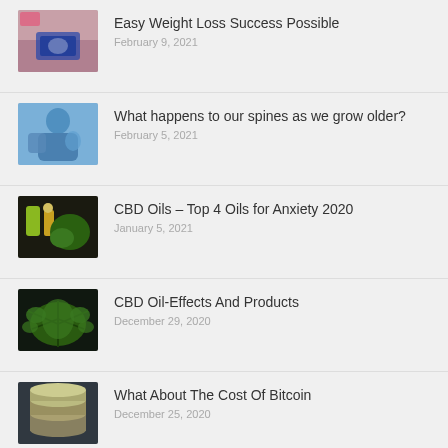Easy Weight Loss Success Possible
February 9, 2021
What happens to our spines as we grow older?
February 5, 2021
CBD Oils – Top 4 Oils for Anxiety 2020
January 5, 2021
CBD Oil-Effects And Products
December 29, 2020
What About The Cost Of Bitcoin
December 25, 2020
How Much Is Plastic Surgery How Much Does It All Cost